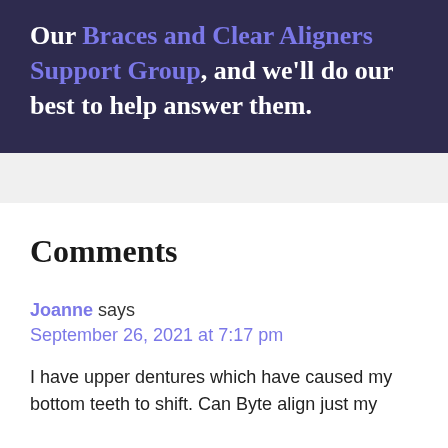Our Braces and Clear Aligners Support Group, and we'll do our best to help answer them.
Comments
Joanne says
September 26, 2021 at 7:17 pm
I have upper dentures which have caused my bottom teeth to shift. Can Byte align just my